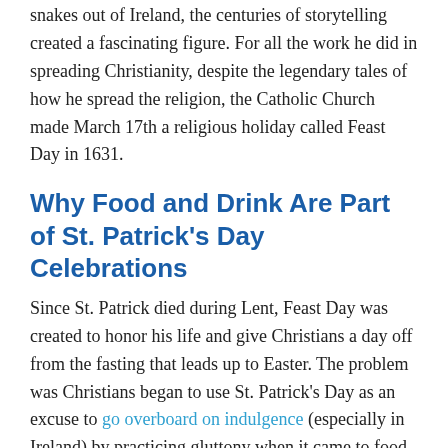snakes out of Ireland, the centuries of storytelling created a fascinating figure. For all the work he did in spreading Christianity, despite the legendary tales of how he spread the religion, the Catholic Church made March 17th a religious holiday called Feast Day in 1631.
Why Food and Drink Are Part of St. Patrick's Day Celebrations
Since St. Patrick died during Lent, Feast Day was created to honor his life and give Christians a day off from the fasting that leads up to Easter. The problem was Christians began to use St. Patrick's Day as an excuse to go overboard on indulgence (especially in Ireland) by practicing gluttony when it came to food and drink. The Church saw it getting out of hand and, in 1720, associated the shamrock with the holiday to remind people that the day was based in religious practice. This is due to a legend that St. Patrick used a